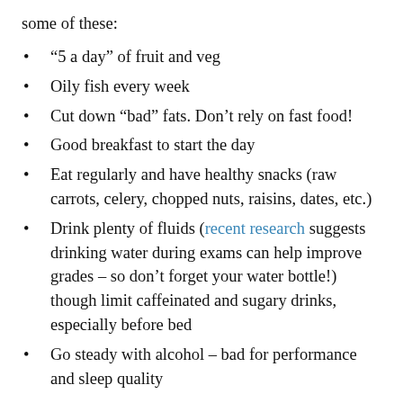some of these:
“5 a day” of fruit and veg
Oily fish every week
Cut down “bad” fats. Don’t rely on fast food!
Good breakfast to start the day
Eat regularly and have healthy snacks (raw carrots, celery, chopped nuts, raisins, dates, etc.)
Drink plenty of fluids (recent research suggests drinking water during exams can help improve grades – so don’t forget your water bottle!) though limit caffeinated and sugary drinks, especially before bed
Go steady with alcohol – bad for performance and sleep quality